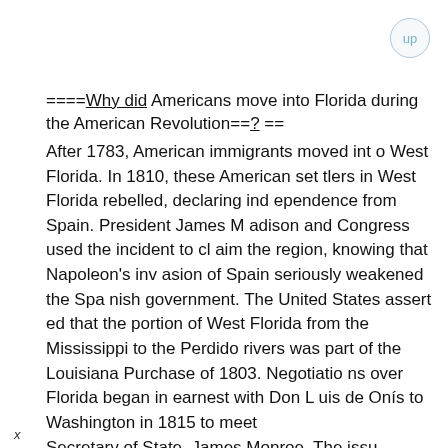====Why did Americans move into Florida during the American Revolution==? ==
After 1783, American immigrants moved into West Florida. In 1810, these American settlers in West Florida rebelled, declaring independence from Spain. President James Madison and Congress used the incident to claim the region, knowing that Napoleon's invasion of Spain seriously weakened the Spanish government. The United States asserted that the portion of West Florida from the Mississippi to the Perdido rivers was part of the Louisiana Purchase of 1803. Negotiations over Florida began in earnest with Don Luis de Onís to Washington in 1815 to meet Secretary of State James Monroe. The issu
x